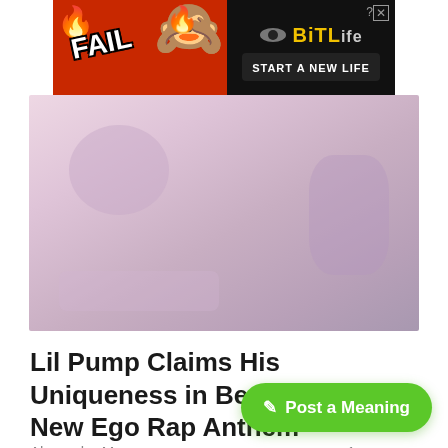[Figure (photo): Advertisement banner for BitLife game showing 'FAIL' text with cartoon character and 'START A NEW LIFE' tagline on black/red background]
[Figure (photo): Hero image showing a close-up blurred/faded pinkish-purple photo, possibly of a person with glasses]
Lil Pump Claims His Uniqueness in Be Like Me: A New Ego Rap Anthem
Alexandru Moruz
1 year ago
✎ Post a Meaning